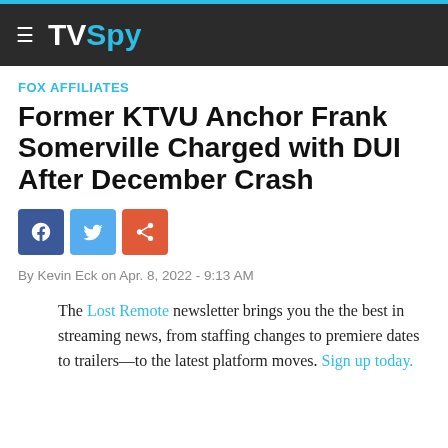TVSpy
FOX AFFILIATES
Former KTVU Anchor Frank Somerville Charged with DUI After December Crash
By Kevin Eck on Apr. 8, 2022 - 9:13 AM
The Lost Remote newsletter brings you the the best in streaming news, from staffing changes to premiere dates to trailers—to the latest platform moves. Sign up today.